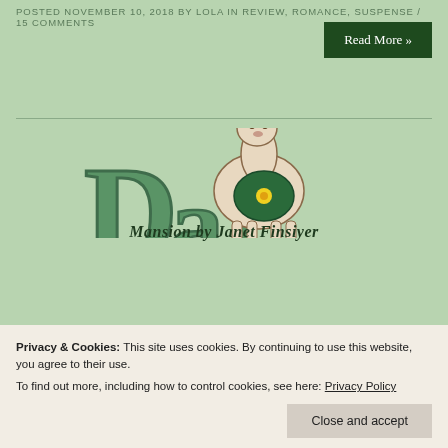POSTED NOVEMBER 10, 2018 BY LOLA IN REVIEW, ROMANCE, SUSPENSE / 15 COMMENTS
Read More »
[Figure (logo): Blog logo featuring a llama/alpaca with a green shield decorated with a yellow flower, sitting atop large green decorative letters spelling out 'Darieny' or similar blog name]
Mansion by Janet Finsiyer
Privacy & Cookies: This site uses cookies. By continuing to use this website, you agree to their use.
To find out more, including how to control cookies, see here: Privacy Policy
Close and accept